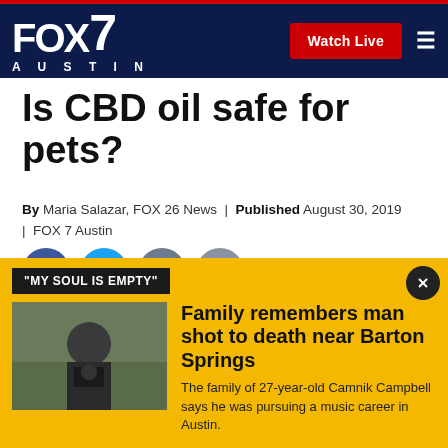FOX 7 AUSTIN — Watch Live
Is CBD oil safe for pets?
By Maria Salazar, FOX 26 News | Published August 30, 2019 | FOX 7 Austin
[Figure (infographic): Social sharing icons: Facebook, Twitter, Print, Email]
HOUSTON (FOX 26) - Dr. Eric Vance with Pearland Animal Hospital says he's getting questions about CBD
[Figure (infographic): Popup banner with tag 'MY SOUL IS EMPTY' and close button]
[Figure (photo): Photo of man holding camera outdoors]
Family remembers man shot to death near Barton Springs
The family of 27-year-old Camnik Campbell says he was pursuing a music career in Austin.